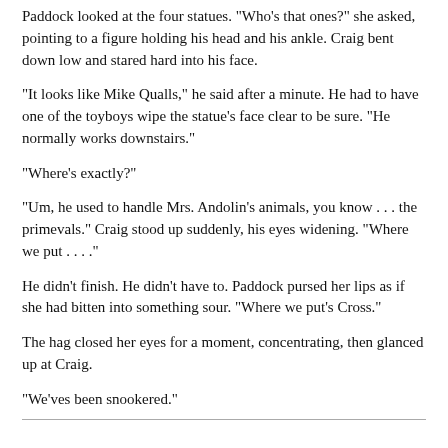Paddock looked at the four statues. "Who's that ones?" she asked, pointing to a figure holding his head and his ankle. Craig bent down low and stared hard into his face.
"It looks like Mike Qualls," he said after a minute. He had to have one of the toyboys wipe the statue’s face clear to be sure. "He normally works downstairs."
"Where’s exactly?"
"Um, he used to handle Mrs. Andolin’s animals, you know . . . the primevals." Craig stood up suddenly, his eyes widening. "Where we put . . . ."
He didn’t finish. He didn’t have to. Paddock pursed her lips as if she had bitten into something sour. "Where we put’s Cross."
The hag closed her eyes for a moment, concentrating, then glanced up at Craig.
"We’ves been snookered."